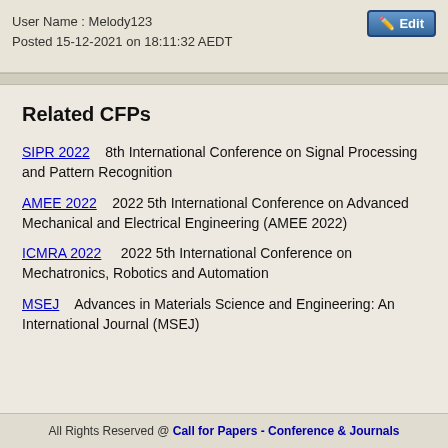User Name : Melody123
Posted 15-12-2021 on 18:11:32 AEDT
Related CFPs
SIPR 2022    8th International Conference on Signal Processing and Pattern Recognition
AMEE 2022    2022 5th International Conference on Advanced Mechanical and Electrical Engineering (AMEE 2022)
ICMRA 2022    2022 5th International Conference on Mechatronics, Robotics and Automation
MSEJ    Advances in Materials Science and Engineering: An International Journal (MSEJ)
All Rights Reserved @ Call for Papers - Conference & Journals